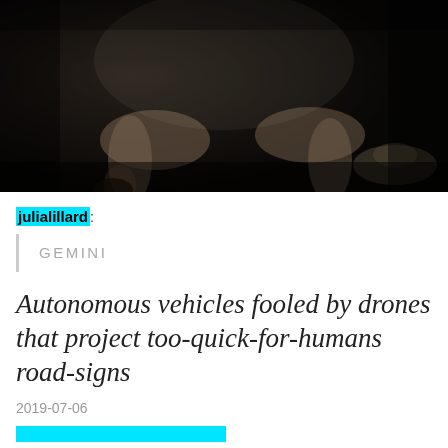[Figure (photo): Dark sepia-toned vintage photograph showing two figures seated, with legs visible in the foreground and a hat visible on the right side. The image has a dark, aged appearance.]
julialillard:
GEMINI
Autonomous vehicles fooled by drones that project too-quick-for-humans road-signs
2019-07-06